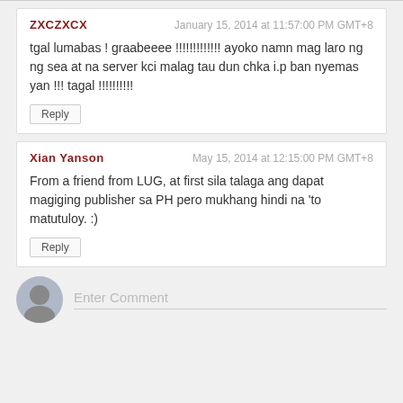ZXCZXCX
January 15, 2014 at 11:57:00 PM GMT+8
tgal lumabas ! graabeeee !!!!!!!!!!!!! ayoko namn mag laro ng ng sea at na server kci malag tau dun chka i.p ban nyemas yan !!! tagal !!!!!!!!!!
Reply
Xian Yanson
May 15, 2014 at 12:15:00 PM GMT+8
From a friend from LUG, at first sila talaga ang dapat magiging publisher sa PH pero mukhang hindi na 'to matutuloy. :)
Reply
Enter Comment